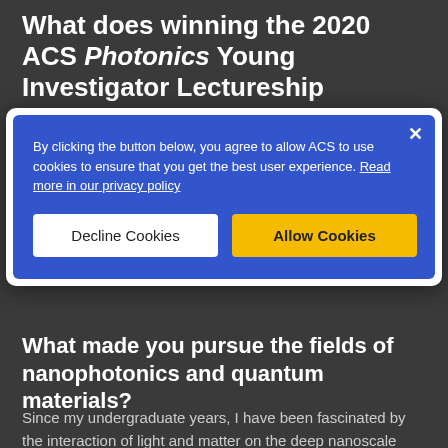What does winning the 2020 ACS Photonics Young Investigator Lectureship
[Figure (screenshot): Cookie consent banner with blue background. Text reads: 'By clicking the button below, you agree to allow ACS to use cookies to ensure that you get the best user experience. Read more in our privacy policy'. Two buttons: 'Decline Cookies' (white) and 'Allow Cookies' (yellow).]
What made you pursue the fields of nanophotonics and quantum materials?
Since my undergraduate years, I have been fascinated by the interaction of light and matter on the deep nanoscale and quantum mechanics. Lately, I have been intrigued by how well-known materials may behave in previously unimaginable ways when their electromagnetic environment is drastically altered. This allows not only new